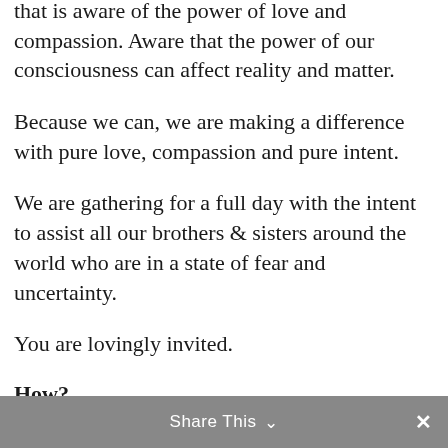that is aware of the power of love and compassion. Aware that the power of our consciousness can affect reality and matter.
Because we can, we are making a difference with pure love, compassion and pure intent.
We are gathering for a full day with the intent to assist all our brothers & sisters around the world who are in a state of fear and uncertainty.
You are lovingly invited.
How?
With our combined love and compassion:
Our pure intent is to: